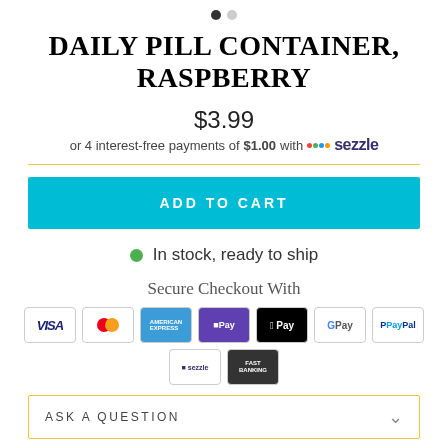[Figure (other): Pagination dots: one filled dark dot and one gray dot]
DAILY PILL CONTAINER, RASPBERRY
$3.99
or 4 interest-free payments of $1.00 with sezzle
ADD TO CART
In stock, ready to ship
Secure Checkout With
[Figure (other): Payment method icons: VISA, Mastercard, American Express, DPay, Apple Pay, Google Pay, PayPal, Sezzle, Fast Banking]
ASK A QUESTION